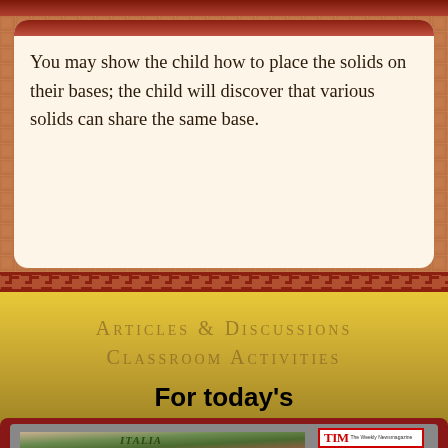You may show the child how to place the solids on their bases; the child will discover that various solids can share the same base.
Articles & Discussions
Classroom Activities
For today's
Casa dei Bambini.
[Figure (photo): A vintage-style image showing a person and children outdoors in Italy, with text 'ITALIA' visible]
[Figure (photo): TIME magazine cover thumbnail with red border showing 'TIM' (Time) masthead and 'The Weekly Newsmagazine' subtitle]